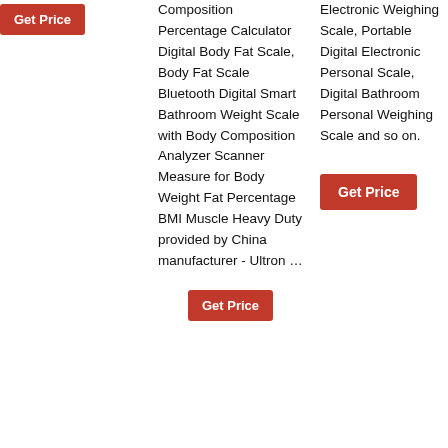Get Price
Composition Percentage Calculator Digital Body Fat Scale, Body Fat Scale Bluetooth Digital Smart Bathroom Weight Scale with Body Composition Analyzer Scanner Measure for Body Weight Fat Percentage BMI Muscle Heavy Duty provided by China manufacturer - Ultron …
Electronic Weighing Scale, Portable Digital Electronic Personal Scale, Digital Bathroom Personal Weighing Scale and so on.
Get Price
Get Price